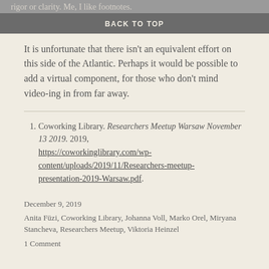rigor or clarity.  Me, I like footnotes.
BACK TO TOP
It is unfortunate that there isn't an equivalent effort on this side of the Atlantic.  Perhaps it would be possible to add a virtual component, for those who don't mind video-ing in from far away.
1. Coworking Library. Researchers Meetup Warsaw November 13 2019. 2019, https://coworkinglibrary.com/wp-content/uploads/2019/11/Researchers-meetup-presentation-2019-Warsaw.pdf.
December 9, 2019
Anita Füzi, Coworking Library, Johanna Voll, Marko Orel, Miryana Stancheva, Researchers Meetup, Viktoria Heinzel
1 Comment